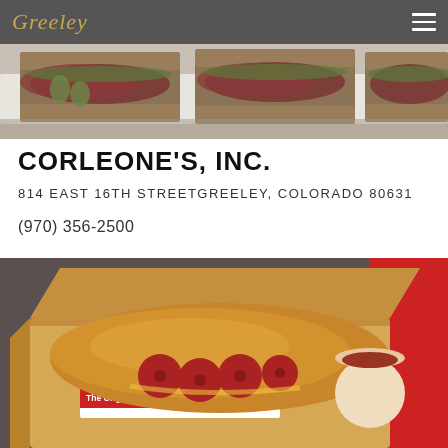Greeley
[Figure (photo): Photo of sandwiches with deli meats and vegetables on a plate]
CORLEONE'S, INC.
814 EAST 16TH STREETGREELEY, COLORADO 80631
(970) 356-2500
[Figure (photo): Photo of a D.P. Dough calzone in a takeout box with marinara dipping sauce, labeled 'D.P. Dough - The Original Calzone Company']